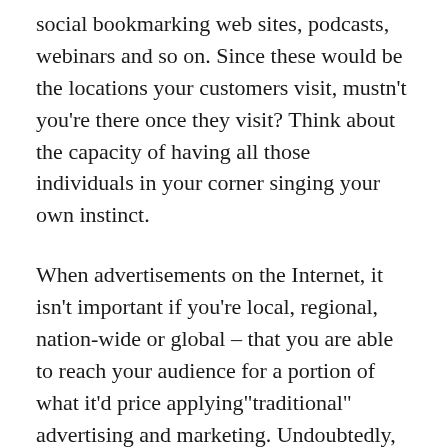social bookmarking web sites, podcasts, webinars and so on. Since these would be the locations your customers visit, mustn't you're there once they visit? Think about the capacity of having all those individuals in your corner singing your own instinct.
When advertisements on the Internet, it isn't important if you're local, regional, nation-wide or global – that you are able to reach your audience for a portion of what it'd price applying"traditional" advertising and marketing. Undoubtedly, it's going to just take a fair amount of work to develop these social networking advertising campaigns, but you'd have already been doing same job to get conventional promotion. Except today, your attain will be significantly better, with all the most crucial added